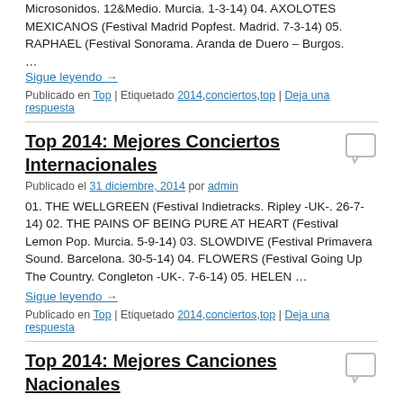Microsonidos. 12&Medio. Murcia. 1-3-14) 04. AXOLOTES MEXICANOS (Festival Madrid Popfest. Madrid. 7-3-14) 05. RAPHAEL (Festival Sonorama. Aranda de Duero – Burgos. …
Sigue leyendo →
Publicado en Top | Etiquetado 2014,conciertos,top | Deja una respuesta
Top 2014: Mejores Conciertos Internacionales
Publicado el 31 diciembre, 2014 por admin
01. THE WELLGREEN (Festival Indietracks. Ripley -UK-. 26-7-14) 02. THE PAINS OF BEING PURE AT HEART (Festival Lemon Pop. Murcia. 5-9-14) 03. SLOWDIVE (Festival Primavera Sound. Barcelona. 30-5-14) 04. FLOWERS (Festival Going Up The Country. Congleton -UK-. 7-6-14) 05. HELEN …
Sigue leyendo →
Publicado en Top | Etiquetado 2014,conciertos,top | Deja una respuesta
Top 2014: Mejores Canciones Nacionales